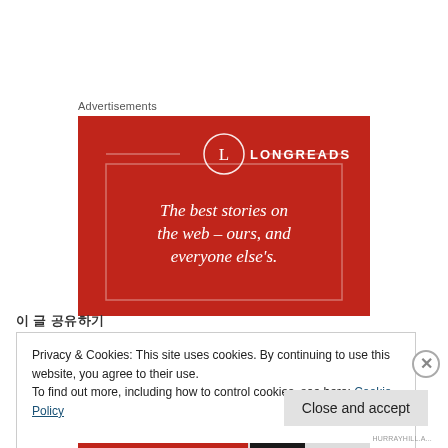Advertisements
[Figure (illustration): Longreads advertisement banner on red background. Circle logo with 'L' and text 'LONGREADS' at top, with italic serif tagline: 'The best stories on the web – ours, and everyone else's.']
이 글 공유하기
Privacy & Cookies: This site uses cookies. By continuing to use this website, you agree to their use.
To find out more, including how to control cookies, see here: Cookie Policy
Close and accept